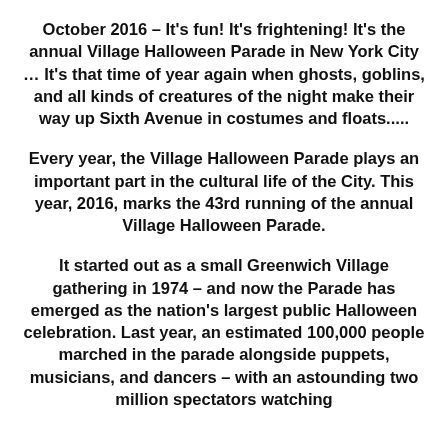October 2016 – It's fun! It's frightening! It's the annual Village Halloween Parade in New York City … It's that time of year again when ghosts, goblins, and all kinds of creatures of the night make their way up Sixth Avenue in costumes and floats…..
Every year, the Village Halloween Parade plays an important part in the cultural life of the City. This year, 2016, marks the 43rd running of the annual Village Halloween Parade.
It started out as a small Greenwich Village gathering in 1974 – and now the Parade has emerged as the nation's largest public Halloween celebration. Last year, an estimated 100,000 people marched in the parade alongside puppets, musicians, and dancers – with an astounding two million spectators watching